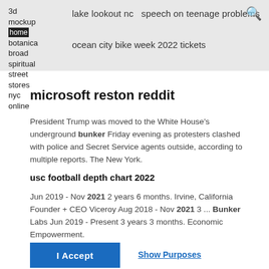3d mockup
botanica broad spiritual street stores nyc online
lake lookout nc speech on teenage problems
ocean city bike week 2022 tickets
microsoft reston reddit
President Trump was moved to the White House's underground bunker Friday evening as protesters clashed with police and Secret Service agents outside, according to multiple reports. The New York.
usc football depth chart 2022
Jun 2019 - Nov 2021 2 years 6 months. Irvine, California Founder + CEO Viceroy Aug 2018 - Nov 2021 3 ... Bunker Labs Jun 2019 - Present 3 years 3 months. Economic Empowerment.
I Accept
Show Purposes